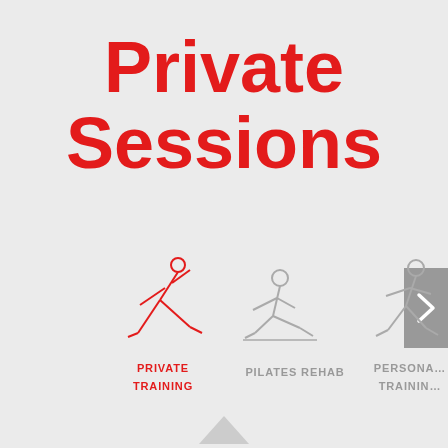Private Sessions
[Figure (illustration): Yoga/fitness icon showing a person in a warrior-like lunge pose, drawn in red outline]
PRIVATE TRAINING
[Figure (illustration): Pilates icon showing a person seated on the floor in a relaxed position, drawn in gray outline]
PILATES REHAB
[Figure (illustration): Fitness icon showing a person in a squat position, drawn in gray outline, partially cropped]
PERSONAL TRAINING